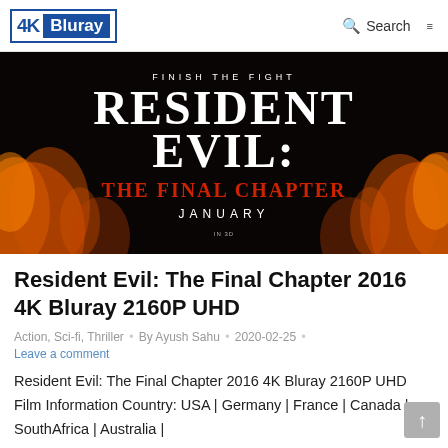4K Bluray | Search | ☰
[Figure (photo): Resident Evil: The Final Chapter movie banner with dark fiery background. Text reads: FINISH THE FIGHT, RESIDENT EVIL: THE FINAL CHAPTER, JANUARY, IN 3D]
Resident Evil: The Final Chapter 2016 4K Bluray 2160P UHD
Action, Sci-fi, Thriller • By Ayush Sahu • 2020-02-25 •
Leave a comment
Resident Evil: The Final Chapter 2016 4K Bluray 2160P UHD Film Information Country: USA | Germany | France | Canada | SouthAfrica | Australia |